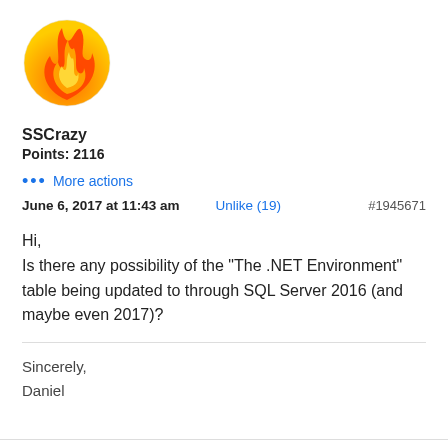[Figure (illustration): Circular avatar with flame icon — orange and yellow fire graphic on circular background]
SSCrazy
Points: 2116
... More actions
June 6, 2017 at 11:43 am    Unlike (19)    #1945671
Hi,
Is there any possibility of the "The .NET Environment" table being updated to through SQL Server 2016 (and maybe even 2017)?
Sincerely,
Daniel